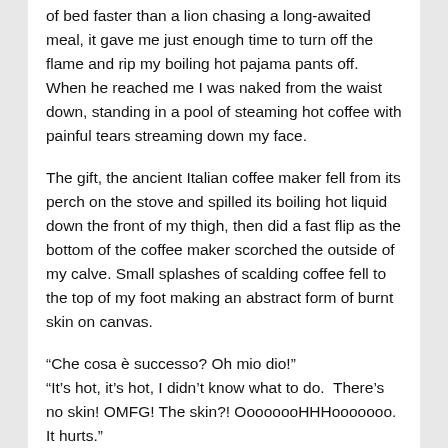of bed faster than a lion chasing a long-awaited meal, it gave me just enough time to turn off the flame and rip my boiling hot pajama pants off. When he reached me I was naked from the waist down, standing in a pool of steaming hot coffee with painful tears streaming down my face.
The gift, the ancient Italian coffee maker fell from its perch on the stove and spilled its boiling hot liquid down the front of my thigh, then did a fast flip as the bottom of the coffee maker scorched the outside of my calve. Small splashes of scalding coffee fell to the top of my foot making an abstract form of burnt skin on canvas.
“Che cosa è successo? Oh mio dio!"
"It's hot, it's hot, I didn't know what to do.  There's no skin! OMFG! The skin?! OooooooHHHooooooo. It hurts."
He helped me to the bed, and in all honesty I don't remember much after that. The fog cleared twenty-four hours later and I learned that the lovely neighbour heard about my plight, and was given an ancient secret potion that is brewed in the mountains of Sardinia. I rub religiously